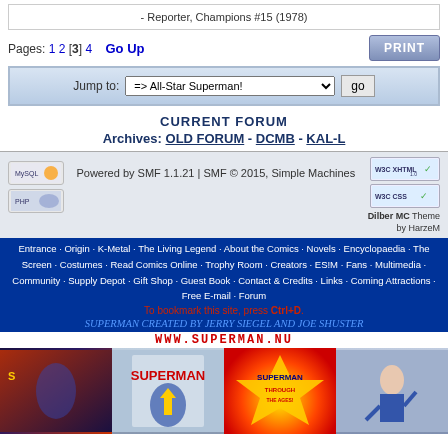- Reporter, Champions #15 (1978)
Pages: 1 2 [3] 4   Go Up
PRINT
Jump to: => All-Star Superman!   go
CURRENT FORUM
Archives: OLD FORUM  -  DCMB  -  KAL-L
Powered by SMF 1.1.21 | SMF © 2015, Simple Machines
Dilber MC Theme by HarzeM
Entrance · Origin · K-Metal · The Living Legend · About the Comics · Novels · Encyclopaedia · The Screen · Costumes · Read Comics Online · Trophy Room · Creators · ES!M · Fans · Multimedia · Community · Supply Depot · Gift Shop · Guest Book · Contact & Credits · Links · Coming Attractions · Free E-mail · Forum
To bookmark this site, press Ctrl+D.
SUPERMAN CREATED BY JERRY SIEGEL AND JOE SHUSTER
WWW.SUPERMAN.NU
[Figure (screenshot): Bottom banner with four Superman-related images including comic art, movie poster, 'Superman Through the Ages' logo, and action photo]